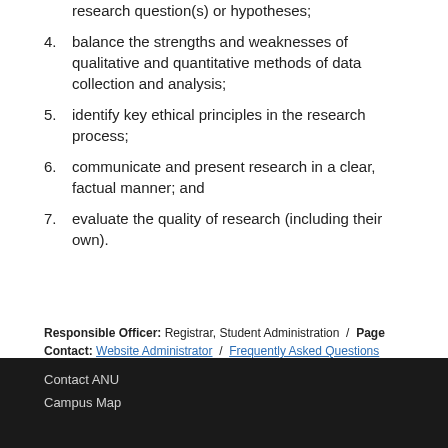research question(s) or hypotheses;
4. balance the strengths and weaknesses of qualitative and quantitative methods of data collection and analysis;
5. identify key ethical principles in the research process;
6. communicate and present research in a clear, factual manner; and
7. evaluate the quality of research (including their own).
Responsible Officer: Registrar, Student Administration / Page Contact: Website Administrator / Frequently Asked Questions
Contact ANU
Campus Map